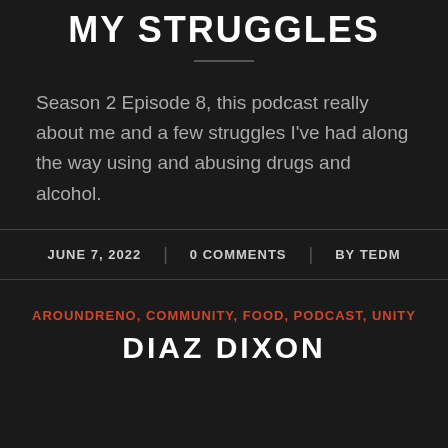MY STRUGGLES
Season 2 Episode 8, this podcast really about me and a few struggles I've had along the way using and abusing drugs and alcohol.
JUNE 7, 2022 | 0 COMMENTS | BY TEDM
AROUNDRENO, COMMUNITY, FOOD, PODCAST, UNITY
DIAZ DIXON